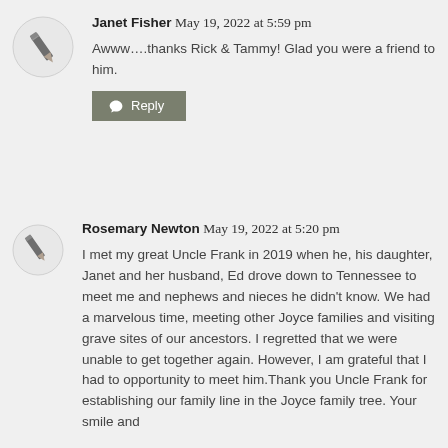[Figure (illustration): Gray circle avatar with pencil/edit icon, for commenter Janet Fisher]
Janet Fisher May 19, 2022 at 5:59 pm
Awww….thanks Rick & Tammy! Glad you were a friend to him.
[Figure (illustration): Reply button with speech bubble icon, gray-green background]
[Figure (illustration): Gray circle avatar with pencil/edit icon, for commenter Rosemary Newton]
Rosemary Newton May 19, 2022 at 5:20 pm
I met my great Uncle Frank in 2019 when he, his daughter, Janet and her husband, Ed drove down to Tennessee to meet me and nephews and nieces he didn't know. We had a marvelous time, meeting other Joyce families and visiting grave sites of our ancestors. I regretted that we were unable to get together again. However, I am grateful that I had to opportunity to meet him.Thank you Uncle Frank for establishing our family line in the Joyce family tree. Your smile and